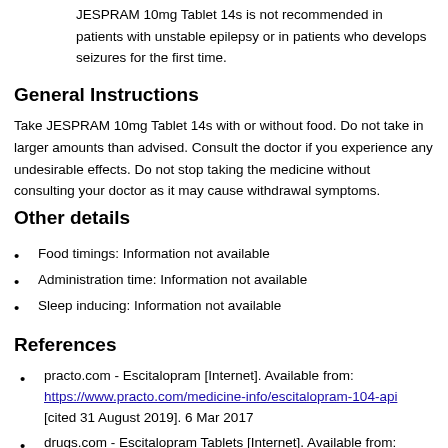JESPRAM 10mg Tablet 14s is not recommended in patients with unstable epilepsy or in patients who develops seizures for the first time.
General Instructions
Take JESPRAM 10mg Tablet 14s with or without food. Do not take in larger amounts than advised. Consult the doctor if you experience any undesirable effects. Do not stop taking the medicine without consulting your doctor as it may cause withdrawal symptoms.
Other details
Food timings: Information not available
Administration time: Information not available
Sleep inducing: Information not available
References
practo.com - Escitalopram [Internet]. Available from: https://www.practo.com/medicine-info/escitalopram-104-api [cited 31 August 2019]. 6 Mar 2017
drugs.com - Escitalopram Tablets [Internet]. Available from: